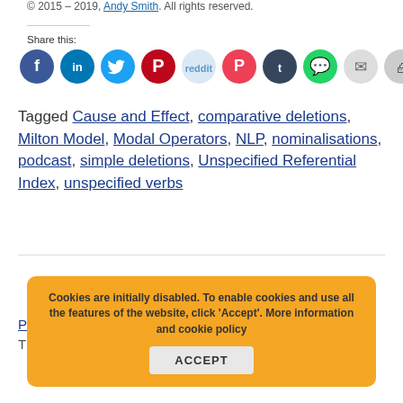© 2015 – 2019, Andy Smith. All rights reserved.
Share this:
[Figure (other): Row of social share icon buttons: Facebook, LinkedIn, Twitter, Pinterest, Reddit, Pocket, Tumblr, WhatsApp, Email, Print]
Tagged Cause and Effect, comparative deletions, Milton Model, Modal Operators, NLP, nominalisations, podcast, simple deletions, Unspecified Referential Index, unspecified verbs
Previous post link text (partially obscured by cookie banner): Practice [NLP] with a The Milton Model NLP... (p).
Cookies are initially disabled. To enable cookies and use all the features of the website, click 'Accept'. More information and cookie policy  ACCEPT